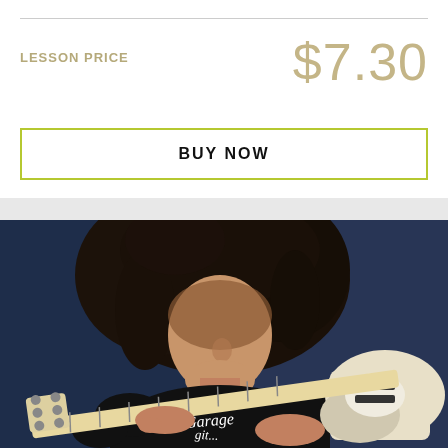LESSON PRICE
$7.30
BUY NOW
[Figure (photo): A young male guitarist with long curly dark hair wearing a black t-shirt with white graphic text, playing a white and natural-finish electric guitar against a dark blue background, looking down at the guitar.]